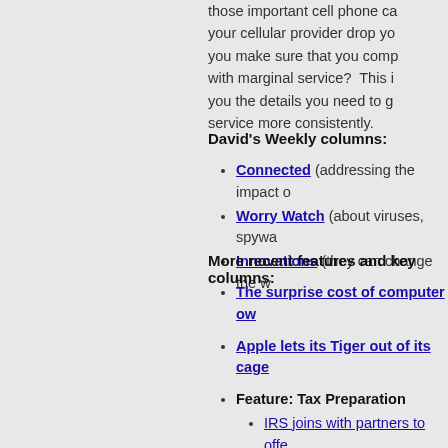those important cell phone ca... your cellular provider drop yo... you make sure that you comp... with marginal service? This i... you the details you need to g... service more consistently.
David's Weekly columns:
Connected (addressing the impact o...
Worry Watch (about viruses, spywa...
Innovations (they can change the w...
More recent features and key columns:
The surprise cost of computer ow...
Apple lets its Tiger out of its cage...
Feature: Tax Preparation
IRS joins with partners to offe... filing
Tips for using the IRS' Free F...
Taking QuickBooks to your ac...
Major League Baseball's online ti...